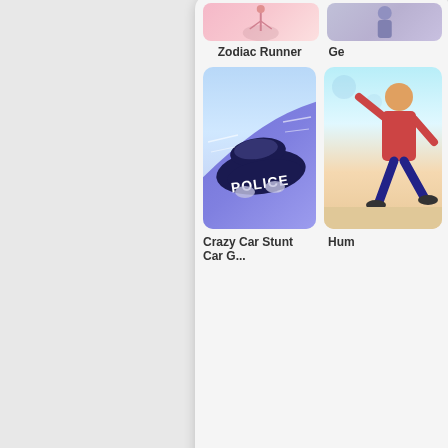[Figure (screenshot): Game thumbnail for Zodiac Runner - partially visible at top left of card panel]
Zodiac Runner
[Figure (screenshot): Partially visible game thumbnail at top right of card panel]
Ge...
[Figure (screenshot): Game thumbnail for Crazy Car Stunt Car G... showing a police car on a purple road]
Crazy Car Stunt Car G...
[Figure (screenshot): Partially visible game thumbnail showing human figure skateboarding, labeled Hum...]
Hum...
[Figure (screenshot): Lower white panel - empty content area]